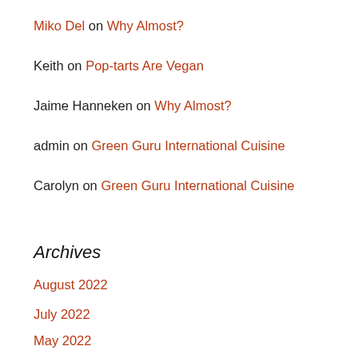Miko Del on Why Almost?
Keith on Pop-tarts Are Vegan
Jaime Hanneken on Why Almost?
admin on Green Guru International Cuisine
Carolyn on Green Guru International Cuisine
Archives
August 2022
July 2022
May 2022
April 2022